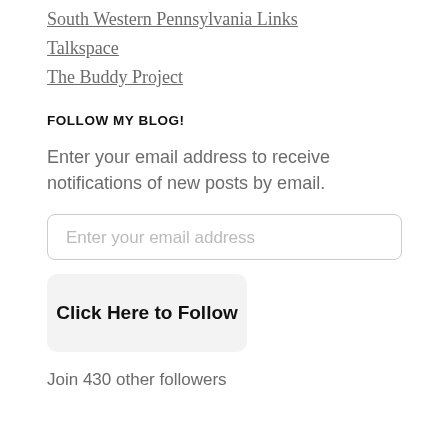South Western Pennsylvania Links
Talkspace
The Buddy Project
FOLLOW MY BLOG!
Enter your email address to receive notifications of new posts by email.
Enter your email address
Click Here to Follow
Join 430 other followers